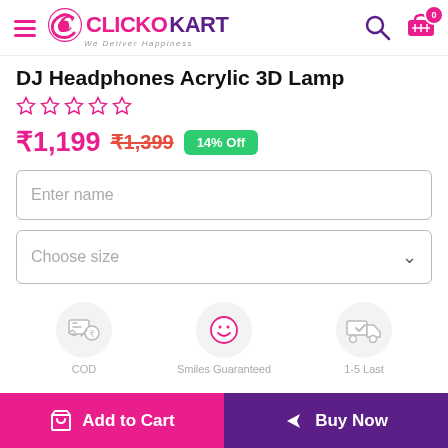ClickoKart — We Deliver Happiness
DJ Headphones Acrylic 3D Lamp
☆ ☆ ☆ ☆ ☆
₹1,199  ₹1,399  14% Off
Enter name
Choose size
[Figure (infographic): Three feature icons in circles: COD (cash on delivery with rupee icon), Smiles Guaranteed (smiley face icon), 1-5 Last (delivery truck with checkmark icon)]
COD   Smiles Guaranteed   1-5 Last
Add to Cart   Buy Now